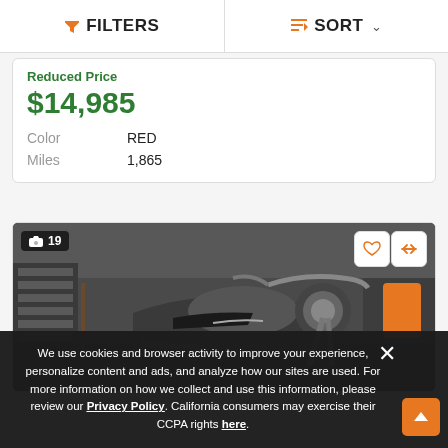FILTERS | SORT
Reduced Price
$14,985
Color   RED
Miles   1,865
[Figure (photo): Motorcycle (dark/silver cruiser) photographed inside a Harley-Davidson dealership showroom. Image counter badge shows 19 photos. Heart and compare icon buttons visible in top-right of image.]
We use cookies and browser activity to improve your experience, personalize content and ads, and analyze how our sites are used. For more information on how we collect and use this information, please review our Privacy Policy. California consumers may exercise their CCPA rights here.